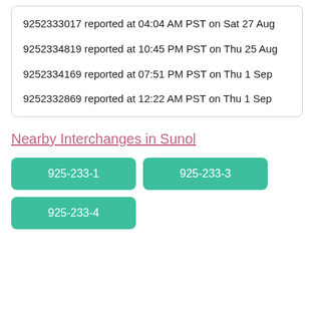9252333017 reported at 04:04 AM PST on Sat 27 Aug
9252334819 reported at 10:45 PM PST on Thu 25 Aug
9252334169 reported at 07:51 PM PST on Thu 1 Sep
9252332869 reported at 12:22 AM PST on Thu 1 Sep
Nearby Interchanges in Sunol
925-233-1
925-233-3
925-233-4